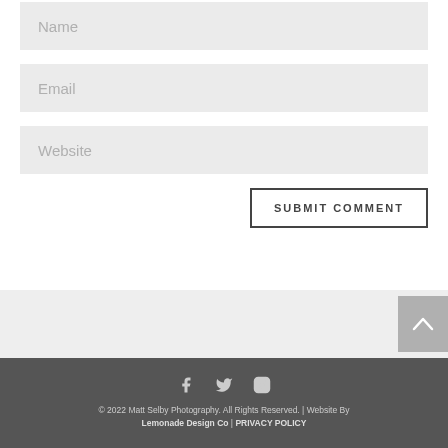Name
Email
Website
SUBMIT COMMENT
[Figure (other): Scroll-to-top button with upward chevron on gray background]
[Figure (other): Social media icons: Facebook, Twitter, Instagram]
© 2022 Matt Selby Photography. All Rights Reserved. | Website By Lemonade Design Co | PRIVACY POLICY